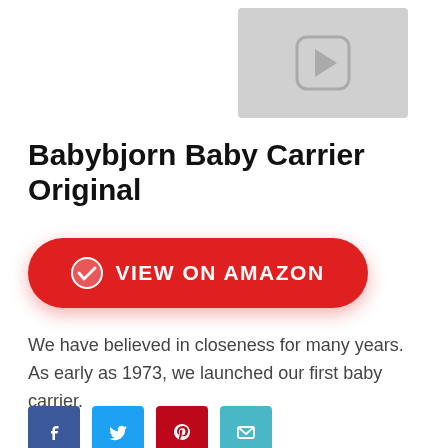[Figure (screenshot): Video thumbnail placeholder with play button icon on grey background]
Babybjorn Baby Carrier Original
[Figure (other): Red rounded button with checkmark icon and text VIEW ON AMAZON]
We have believed in closeness for many years. As early as 1973, we launched our first baby carrier.
[Figure (other): Social sharing icons: Facebook, Twitter, Pinterest, Email]